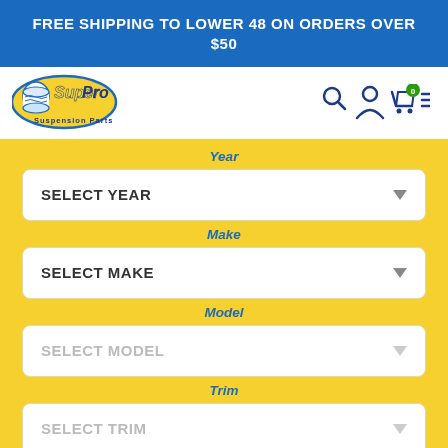FREE SHIPPING TO LOWER 48 ON ORDERS OVER $50
[Figure (logo): SuperPro Suspension Parts logo with shopping cart icon showing 0 items, search icon, user icon, and hamburger menu]
Year
SELECT YEAR
Make
SELECT MAKE
Model
SELECT MODEL
Trim
SELECT TRIM